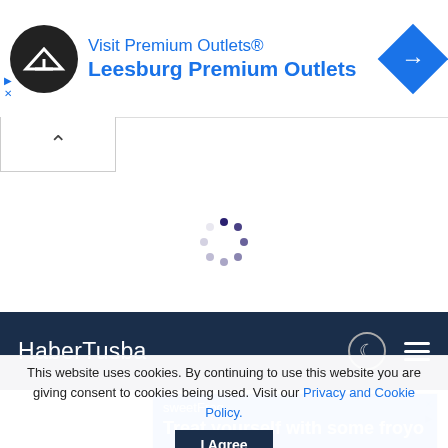[Figure (screenshot): Ad banner for Premium Outlets / Leesburg Premium Outlets with circular black logo and blue diamond arrow icon]
[Figure (screenshot): Collapse/hide ad button with caret-up symbol]
[Figure (screenshot): Loading spinner (dots in a circle) on white background]
[Figure (screenshot): HaberTusba navigation bar with moon icon and hamburger menu on dark navy background]
[Figure (screenshot): sweetFrog ad banner: blue background with brand name and 'Treat yourself with some froyo' headline]
This website uses cookies. By continuing to use this website you are giving consent to cookies being used. Visit our Privacy and Cookie Policy.